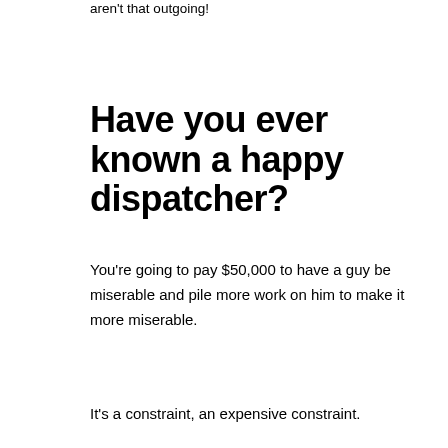aren't that outgoing!
Have you ever known a happy dispatcher?
You're going to pay $50,000 to have a guy be miserable and pile more work on him to make it more miserable.
It's a constraint, an expensive constraint.